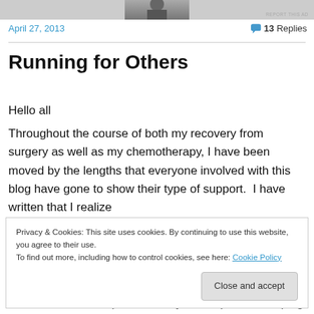[Figure (photo): Partial photo strip at top of page showing a person in a suit]
REPORT THIS AD
April 27, 2013
13 Replies
Running for Others
Hello all
Throughout the course of both my recovery from surgery as well as my chemotherapy, I have been moved by the lengths that everyone involved with this blog have gone to show their type of support.  I have written that I realize
Privacy & Cookies: This site uses cookies. By continuing to use this website, you agree to their use.
To find out more, including how to control cookies, see here: Cookie Policy
Close and accept
cancer in their own personal ways. One person's coping